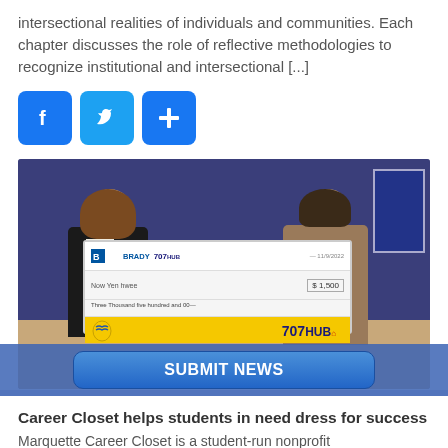intersectional realities of individuals and communities. Each chapter discusses the role of reflective methodologies to recognize institutional and intersectional [...]
[Figure (other): Social media sharing icons: Facebook (blue f), Twitter (blue bird), and a blue plus/share icon]
[Figure (photo): Two women holding a large ceremonial check from Brady/707Hub. One woman is on the left in a black blazer, the other on the right in a brown top. The check is in the center, with 707HUB branding visible on the bottom yellow strip.]
Career Closet helps students in need dress for success
Marquette Career Closet is a student-run nonprofit
SUBMIT NEWS